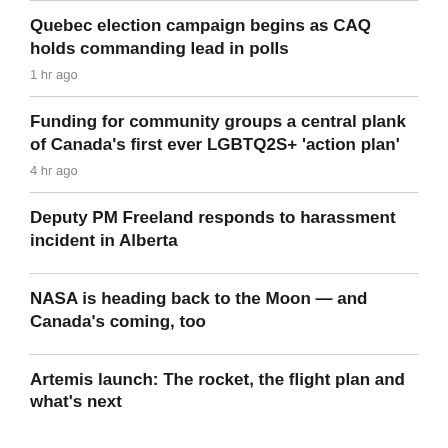Quebec election campaign begins as CAQ holds commanding lead in polls
1 hr ago
Funding for community groups a central plank of Canada's first ever LGBTQ2S+ 'action plan'
4 hr ago
Deputy PM Freeland responds to harassment incident in Alberta
NASA is heading back to the Moon — and Canada's coming, too
Artemis launch: The rocket, the flight plan and what's next